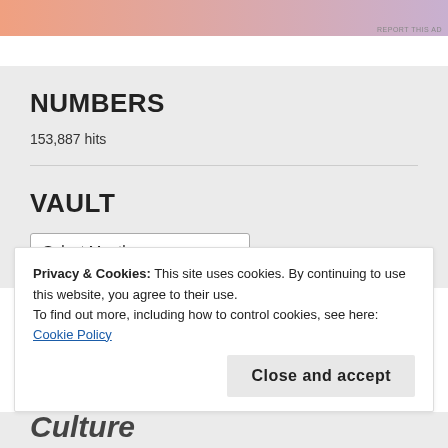[Figure (illustration): Advertisement banner with gradient from orange to purple/lavender with 'REPORT THIS AD' text in lower right]
NUMBERS
153,887 hits
VAULT
Select Month (dropdown)
Privacy & Cookies: This site uses cookies. By continuing to use this website, you agree to their use.
To find out more, including how to control cookies, see here: Cookie Policy
Close and accept